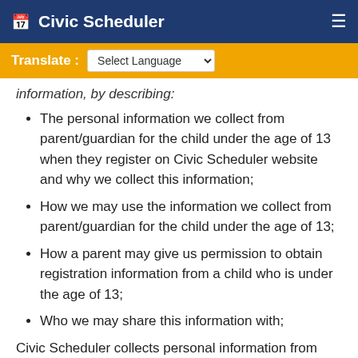Civic Scheduler
Translate : Select Language
information, by describing:
The personal information we collect from parent/guardian for the child under the age of 13 when they register on Civic Scheduler website and why we collect this information;
How we may use the information we collect from parent/guardian for the child under the age of 13;
How a parent may give us permission to obtain registration information from a child who is under the age of 13;
Who we may share this information with;
Civic Scheduler collects personal information from parent/guardian for the child under the age of 13 so that they may participate in COVID-19 testing. We request the following information in order to register on Civic Scheduler